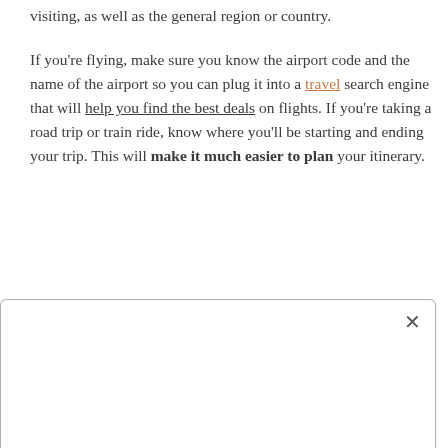visiting, as well as the general region or country.
If you're flying, make sure you know the airport code and the name of the airport so you can plug it into a travel search engine that will help you find the best deals on flights. If you're taking a road trip or train ride, know where you'll be starting and ending your trip. This will make it much easier to plan your itinerary.